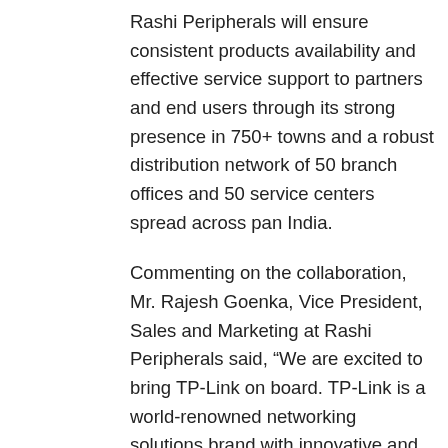Rashi Peripherals will ensure consistent products availability and effective service support to partners and end users through its strong presence in 750+ towns and a robust distribution network of 50 branch offices and 50 service centers spread across pan India.
Commenting on the collaboration, Mr. Rajesh Goenka, Vice President, Sales and Marketing at Rashi Peripherals said, “We are excited to bring TP-Link on board. TP-Link is a world-renowned networking solutions brand with innovative and cutting-edge product portfolio. We through our wide reach and a robust network of 9000+ partners will ensure seamless availability of TP-Link products to ever-growing SMB market”